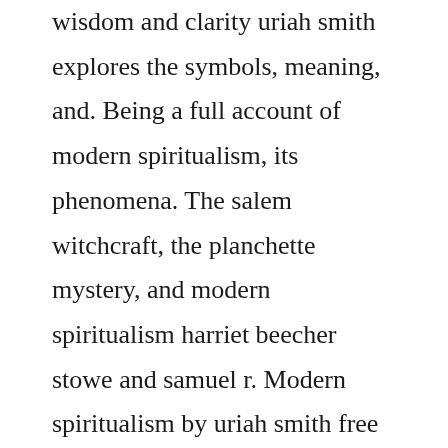wisdom and clarity uriah smith explores the symbols, meaning, and. Being a full account of modern spiritualism, its phenomena. The salem witchcraft, the planchette mystery, and modern spiritualism harriet beecher stowe and samuel r. Modern spiritualism by uriah smith free ebook project gutenberg. The state of the dead and the destiny of the wicked. Read free classic books on psychic abilities, spiritualism and the paranormal. Researches into the phenomena of modern spiritualism 1904. A subject of prophecy and a sign of the times kindle edition by uriah smith. Uriah smiths